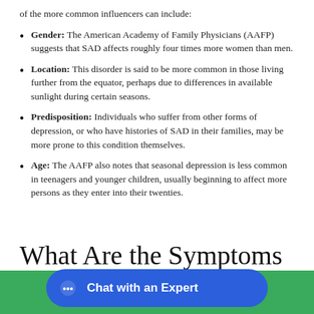of the more common influencers can include:
Gender: The American Academy of Family Physicians (AAFP) suggests that SAD affects roughly four times more women than men.
Location: This disorder is said to be more common in those living further from the equator, perhaps due to differences in available sunlight during certain seasons.
Predisposition: Individuals who suffer from other forms of depression, or who have histories of SAD in their families, may be more prone to this condition themselves.
Age: The AAFP also notes that seasonal depression is less common in teenagers and younger children, usually beginning to affect more persons as they enter into their twenties.
What Are the Symptoms